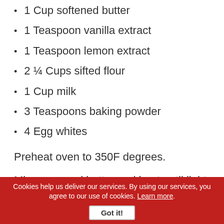1 Cup softened butter
1 Teaspoon vanilla extract
1 Teaspoon lemon extract
2 ¼ Cups sifted flour
1 Cup milk
3 Teaspoons baking powder
4 Egg whites
Preheat oven to 350F degrees.
Mix sugar and butter and beat until light and fluffy; beat in flavorings.
Cookies help us deliver our services. By using our services, you agree to our use of cookies. Learn more. Got it!